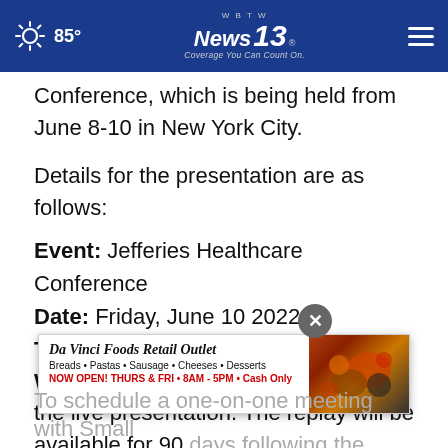85° | WBTW News 13 — Coverage You Can Count On.
Conference, which is being held from June 8-10 in New York City.
Details for the presentation are as follows:
Event: Jefferies Healthcare Conference
Date: Friday, June 10 2022
Time: 11:30AM ET
Webcast: Click this link to register for the live presentation. The replay will be available for 90 days following the presentation.
[Figure (other): Advertisement for Da Vinci Foods Retail Outlet: Breads, Pastas, Sausage, Cheeses, Desserts. NOW OPEN! THURS & FRI · 8AM - 5PM · Cash Only. With food image on right.]
To schedule a one-on-one meeting with Small